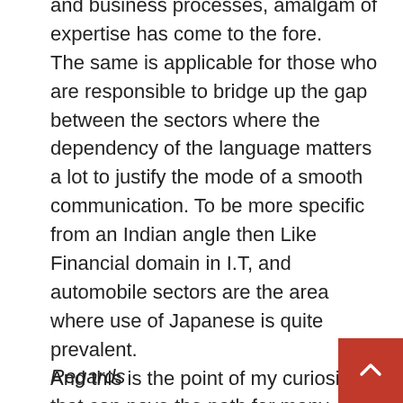and business processes, amalgam of expertise has come to the fore. The same is applicable for those who are responsible to bridge up the gap between the sectors where the dependency of the language matters a lot to justify the mode of a smooth communication. To be more specific from an Indian angle then Like Financial domain in I.T, and automobile sectors are the area where use of Japanese is quite prevalent. And this is the point of my curiosity that can pave the path for many others if answered that 'Which SAP module will be the best 'Fitment' for a Japanese Bilingual'?
Regards